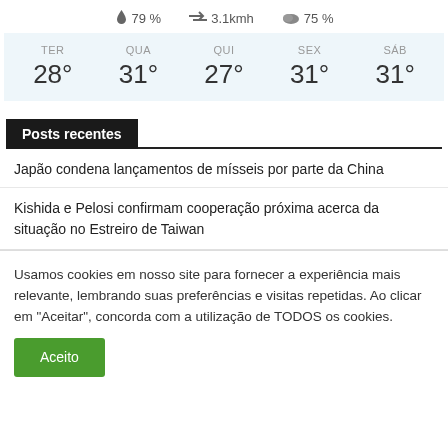79 %   3.1kmh   75 %
| TER | QUA | QUI | SEX | SÁB |
| --- | --- | --- | --- | --- |
| 28° | 31° | 27° | 31° | 31° |
Posts recentes
Japão condena lançamentos de mísseis por parte da China
Kishida e Pelosi confirmam cooperação próxima acerca da situação no Estreiro de Taiwan
Usamos cookies em nosso site para fornecer a experiência mais relevante, lembrando suas preferências e visitas repetidas. Ao clicar em "Aceitar", concorda com a utilização de TODOS os cookies.
Aceito